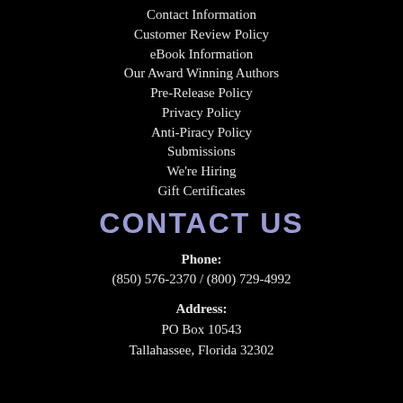Contact Information
Customer Review Policy
eBook Information
Our Award Winning Authors
Pre-Release Policy
Privacy Policy
Anti-Piracy Policy
Submissions
We're Hiring
Gift Certificates
CONTACT US
Phone:
(850) 576-2370 / (800) 729-4992
Address:
PO Box 10543
Tallahassee, Florida 32302